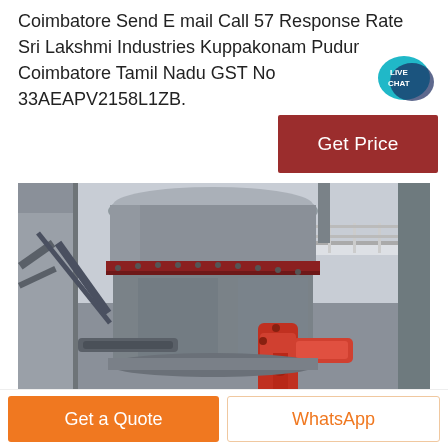Coimbatore Send E mail Call 57 Response Rate Sri Lakshmi Industries Kuppakonam Pudur Coimbatore Tamil Nadu GST No 33AEAPV2158L1ZB.
[Figure (other): Live Chat speech bubble badge in teal/dark blue color with text LIVE CHAT]
[Figure (other): Dark red Get Price button]
[Figure (photo): Industrial grinding mill machine — large grey cylindrical body with red mechanical arm/actuator, inside a factory building with metal structure and walkways]
Get a Quote
WhatsApp